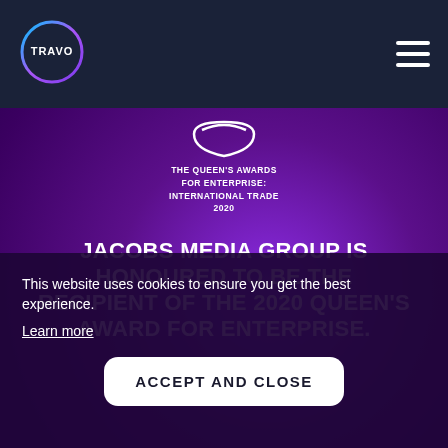[Figure (logo): Travo logo: circular gradient border (blue-purple) with TRAVO text in white inside]
[Figure (logo): The Queen's Awards for Enterprise: International Trade 2020 logo with white arc and text]
JACOBS MEDIA GROUP IS HONOURED TO BE THE RECIPIENT OF THE 2020 QUEEN'S AWARD FOR ENTERPRISE.
The highest official awards for UK businesses since being established by royal
This website uses cookies to ensure you get the best experience.
Learn more
ACCEPT AND CLOSE